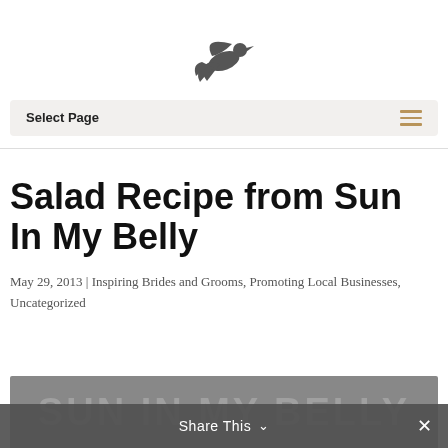[Figure (logo): Dark grey flying bird/dove logo centered at top]
Select Page
Salad Recipe from Sun In My Belly
May 29, 2013 | Inspiring Brides and Grooms, Promoting Local Businesses, Uncategorized
[Figure (photo): Partial image at bottom showing grey background with watermark text SUN IN MY BELLY]
Share This